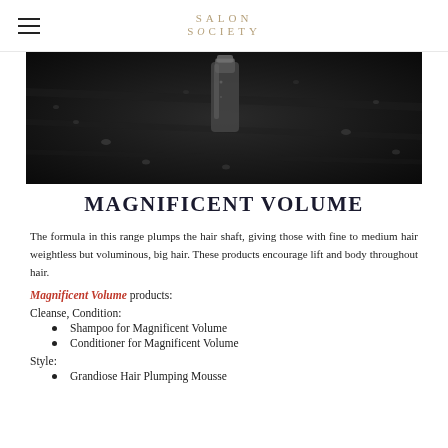SALON SOCIETY
[Figure (photo): Dark close-up product photo showing a metallic hair product bottle with water droplets on a dark background]
MAGNIFICENT VOLUME
The formula in this range plumps the hair shaft, giving those with fine to medium hair weightless but voluminous, big hair. These products encourage lift and body throughout hair.
Magnificent Volume products:
Cleanse, Condition:
Shampoo for Magnificent Volume
Conditioner for Magnificent Volume
Style:
Grandiose Hair Plumping Mousse